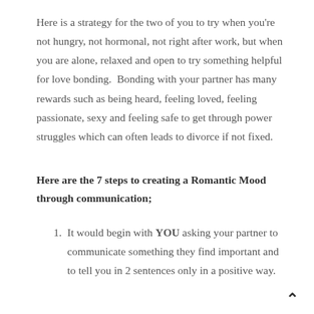Here is a strategy for the two of you to try when you're not hungry, not hormonal, not right after work, but when you are alone, relaxed and open to try something helpful for love bonding.  Bonding with your partner has many rewards such as being heard, feeling loved, feeling passionate, sexy and feeling safe to get through power struggles which can often leads to divorce if not fixed.
Here are the 7 steps to creating a Romantic Mood through communication;
It would begin with YOU asking your partner to communicate something they find important and to tell you in 2 sentences only in a positive way.